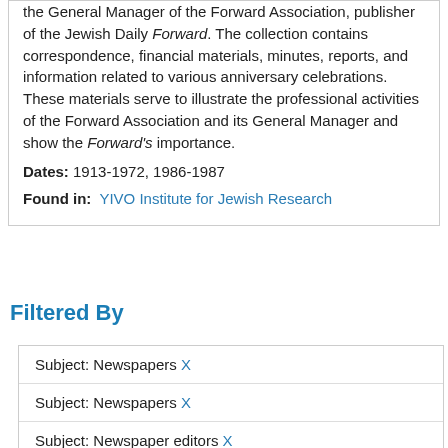the General Manager of the Forward Association, publisher of the Jewish Daily Forward. The collection contains correspondence, financial materials, minutes, reports, and information related to various anniversary celebrations. These materials serve to illustrate the professional activities of the Forward Association and its General Manager and show the Forward's importance.
Dates: 1913-1972, 1986-1987
Found in: YIVO Institute for Jewish Research
Filtered By
Subject: Newspapers X
Subject: Newspapers X
Subject: Newspaper editors X
Subject: Clippings (information artifacts) X